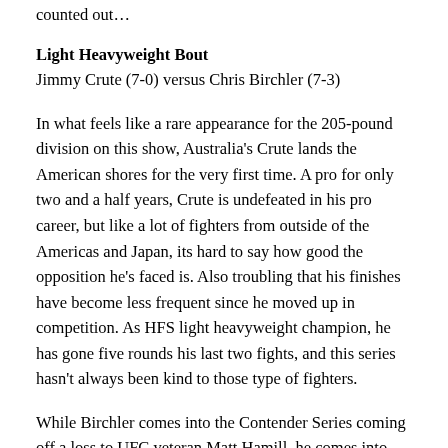counted out…
Light Heavyweight Bout
Jimmy Crute (7-0) versus Chris Birchler (7-3)
In what feels like a rare appearance for the 205-pound division on this show, Australia's Crute lands the American shores for the very first time. A pro for only two and a half years, Crute is undefeated in his pro career, but like a lot of fighters from outside of the Americas and Japan, its hard to say how good the opposition he's faced is. Also troubling that his finishes have become less frequent since he moved up in competition. As HFS light heavyweight champion, he has gone five rounds his last two fights, and this series hasn't always been kind to those type of fighters.
While Birchler comes into the Contender Series coming off a loss to UFC veteran Matt Hamill, he comes into this